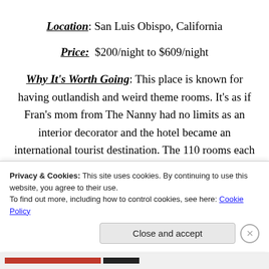Location: San Luis Obispo, California
Price: $200/night to $609/night
Why It's Worth Going: This place is known for having outlandish and weird theme rooms. It’s as if Fran’s mom from The Nanny had no limits as an interior decorator and the hotel became an international tourist destination. The 110 rooms each have names based on the unique decor, such as Love Nest, Old Mills, Rock Bottom, Cloud Nine,
Privacy & Cookies: This site uses cookies. By continuing to use this website, you agree to their use. To find out more, including how to control cookies, see here: Cookie Policy
Close and accept